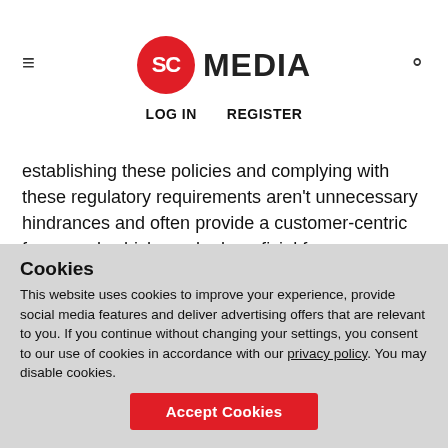SC MEDIA | LOG IN  REGISTER
establishing these policies and complying with these regulatory requirements aren’t unnecessary hindrances and often provide a customer-centric framework which can be beneficial for your organization’s overall productivity,
“US marketing departments try to market to as many people as possible, either by buying lists or capturing information from people who reach their website,” says Flanders. “They
Cookies
This website uses cookies to improve your experience, provide social media features and deliver advertising offers that are relevant to you. If you continue without changing your settings, you consent to our use of cookies in accordance with our privacy policy. You may disable cookies.
Accept Cookies